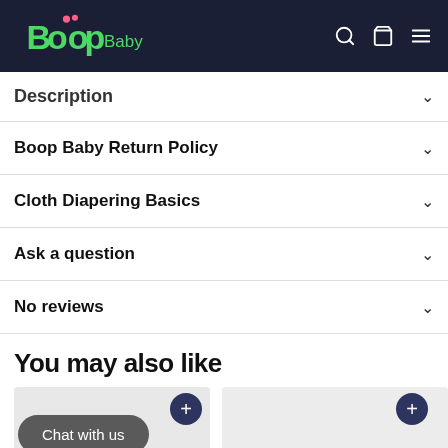Boop Baby — navigation header with search, cart, and menu icons
Description
Boop Baby Return Policy
Cloth Diapering Basics
Ask a question
No reviews
You may also like
[Figure (screenshot): Two product card thumbnails with dark navy plus buttons, a grey 'Chat with us' pill button, and a teal 'Boop Bucks' tab at the bottom right.]